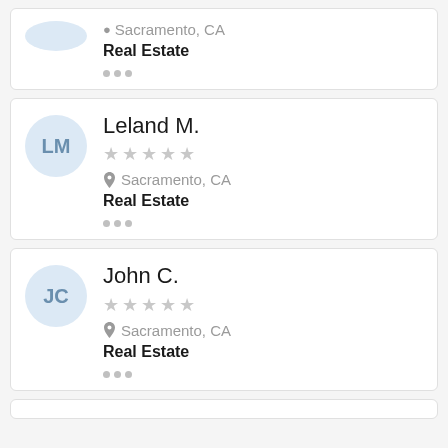Sacramento, CA | Real Estate | ...
Leland M. | Sacramento, CA | Real Estate | ...
John C. | Sacramento, CA | Real Estate | ...